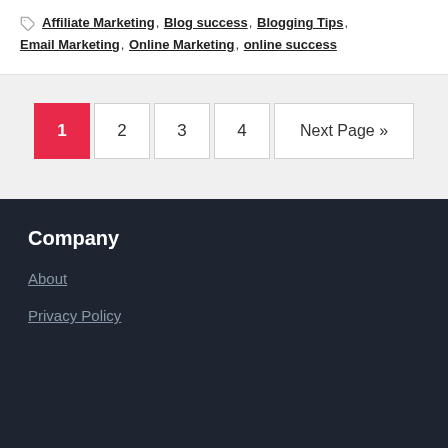Affiliate Marketing, Blog success, Blogging Tips, Email Marketing, Online Marketing, online success
1  2  3  4  Next Page »
Company
About
Privacy Policy